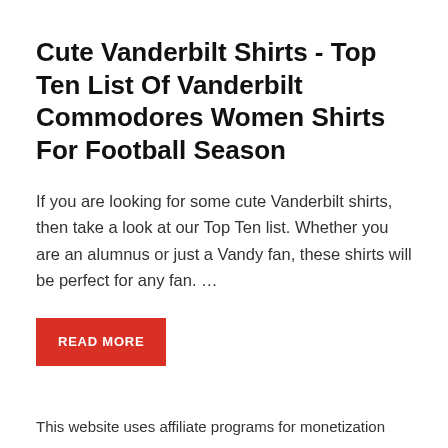Cute Vanderbilt Shirts - Top Ten List Of Vanderbilt Commodores Women Shirts For Football Season
If you are looking for some cute Vanderbilt shirts, then take a look at our Top Ten list. Whether you are an alumnus or just a Vandy fan, these shirts will be perfect for any fan. …
READ MORE
This website uses affiliate programs for monetization